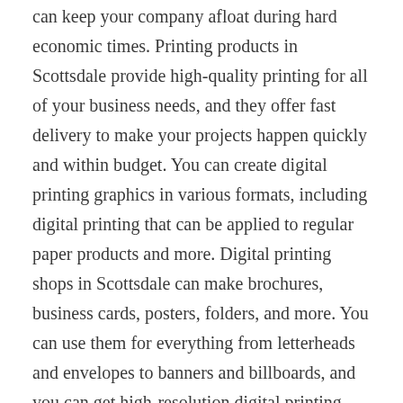can keep your company afloat during hard economic times. Printing products in Scottsdale provide high-quality printing for all of your business needs, and they offer fast delivery to make your projects happen quickly and within budget. You can create digital printing graphics in various formats, including digital printing that can be applied to regular paper products and more. Digital printing shops in Scottsdale can make brochures, business cards, posters, folders, and more. You can use them for everything from letterheads and envelopes to banners and billboards, and you can get high-resolution digital printing that will last for years to come. For your next printing job, consider hiring graphic designers in Scottsdale to ensure the best results possible.
If you're looking for a digital printing company that can